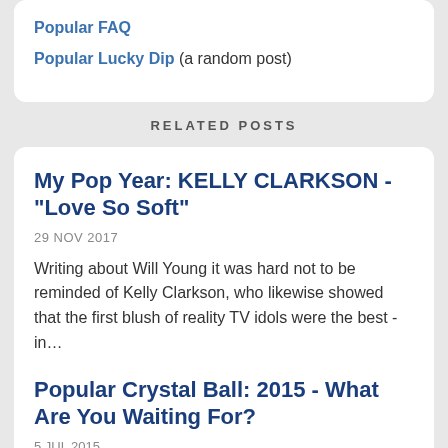Popular FAQ
Popular Lucky Dip (a random post)
RELATED POSTS
My Pop Year: KELLY CLARKSON - "Love So Soft"
29 NOV 2017
Writing about Will Young it was hard not to be reminded of Kelly Clarkson, who likewise showed that the first blush of reality TV idols were the best - in…
Popular Crystal Ball: 2015 - What Are You Waiting For?
5 JUL 2015
I'll let you set the paaaace…. what? Only eight new number ones? Well, we're not trying that again. In order, best to worst.